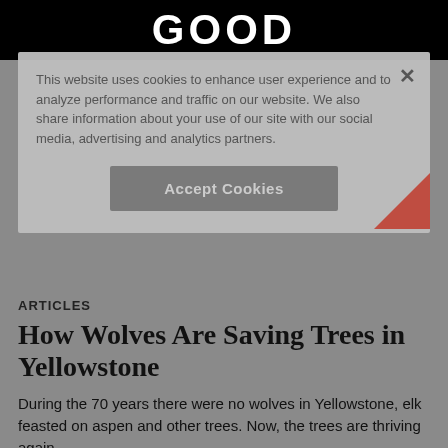GOOD
This website uses cookies to enhance user experience and to analyze performance and traffic on our website. We also share information about your use of our site with our social media, advertising and analytics partners.
Accept Cookies
ARTICLES
How Wolves Are Saving Trees in Yellowstone
During the 70 years there were no wolves in Yellowstone, elk feasted on aspen and other trees. Now, the trees are thriving again.
By Sarah Laskow     01.07.12